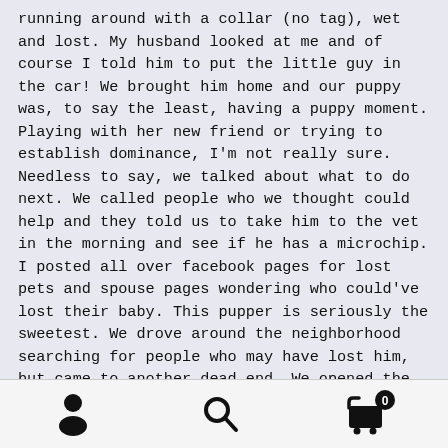running around with a collar (no tag), wet and lost. My husband looked at me and of course I told him to put the little guy in the car! We brought him home and our puppy was, to say the least, having a puppy moment. Playing with her new friend or trying to establish dominance, I'm not really sure. Needless to say, we talked about what to do next. We called people who we thought could help and they told us to take him to the vet in the morning and see if he has a microchip. I posted all over facebook pages for lost pets and spouse pages wondering who could've lost their baby. This pupper is seriously the sweetest. We drove around the neighborhood searching for people who may have lost him, but came to another dead end. We opened the car door
[Figure (other): Mobile app bottom navigation bar with three icons: user/person icon on left, search/magnifying glass icon in center, shopping cart icon with badge showing '0' on right]